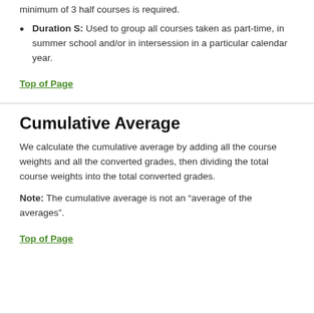minimum of 3 half courses is required.
Duration S: Used to group all courses taken as part-time, in summer school and/or in intersession in a particular calendar year.
Top of Page
Cumulative Average
We calculate the cumulative average by adding all the course weights and all the converted grades, then dividing the total course weights into the total converted grades.
Note: The cumulative average is not an “average of the averages”.
Top of Page